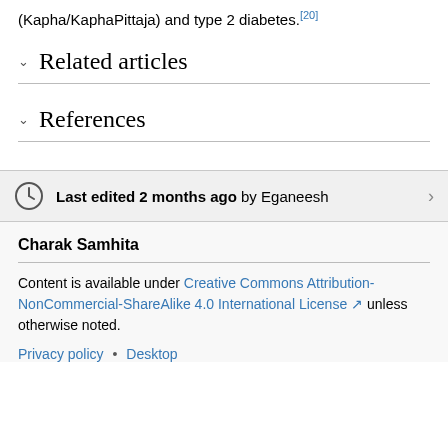(Kapha/KaphaPittaja) and type 2 diabetes.[20]
Related articles
References
Last edited 2 months ago by Eganeesh
Charak Samhita
Content is available under Creative Commons Attribution-NonCommercial-ShareAlike 4.0 International License unless otherwise noted.
Privacy policy • Desktop